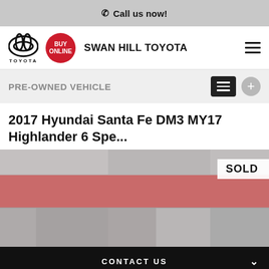📞 Call us now!
[Figure (logo): Toyota logo and Swan Hill Toyota dealership navigation bar with Buy Online badge and hamburger menu]
PRE-OWNED VEHICLE
2017 Hyundai Santa Fe DM3 MY17 Highlander 6 Spe...
[Figure (photo): Photo of Swan Hill Toyota dealership exterior with red branding, overlaid with SOLD badge]
CONTACT US
FINANCE THIS VEHICLE